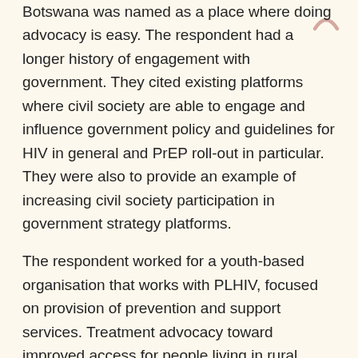Botswana was named as a place where doing advocacy is easy. The respondent had a longer history of engagement with government. They cited existing platforms where civil society are able to engage and influence government policy and guidelines for HIV in general and PrEP roll-out in particular. They were also to provide an example of increasing civil society participation in government strategy platforms.
The respondent worked for a youth-based organisation that works with PLHIV, focused on provision of prevention and support services. Treatment advocacy toward improved access for people living in rural areas, mobile populations and certain